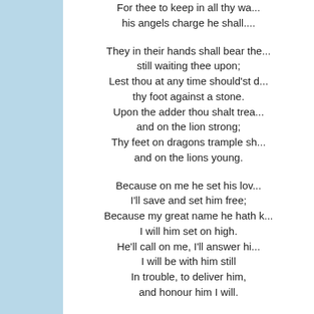For thee to keep in all thy wa...
his angels charge he shall....

They in their hands shall bear the...
still waiting thee upon;
Lest thou at any time should'st d...
thy foot against a stone.
Upon the adder thou shalt trea...
and on the lion strong;
Thy feet on dragons trample sh...
and on the lions young.

Because on me he set his lov...
I'll save and set him free;
Because my great name he hath k...
I will him set on high.
He'll call on me, I'll answer hi...
I will be with him still
In trouble, to deliver him,
and honour him I will.

With length of days unto his m...
I will him satisfy;
I also my salvation
will cause his eyes to see...